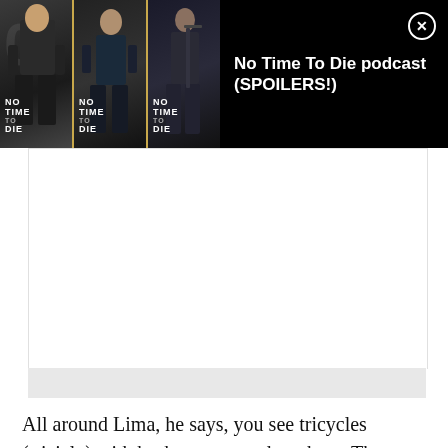[Figure (screenshot): Advertisement banner for 'No Time To Die podcast (SPOILERS!)' showing three James Bond movie poster panels side by side with a close button (X) in top right corner, black background]
All around Lima, he says, you see tricycles (triciclo) with baskets mounted on them. These are peddlers, who drive around the city announcing their wares using megaphones.
"A Peruvian rock band, Los Mojarras, wrote a